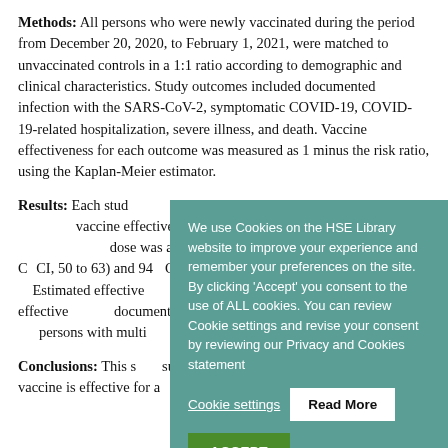Methods: All persons who were newly vaccinated during the period from December 20, 2020, to February 1, 2021, were matched to unvaccinated controls in a 1:1 ratio according to demographic and clinical characteristics. Study outcomes included documented infection with the SARS-CoV-2, symptomatic COVID-19, COVID-19-related hospitalization, severe illness, and death. Vaccine effectiveness for each outcome was measured as 1 minus the risk ratio, using the Kaplan-Meier estimator.
Results: Each study outcome was assessed for vaccine effectiveness 20 after the first dose and 7 days after the second dose. After the second dose was as follows: 57% (95% CI, 50 to 63) and 92% (95% CI ... 51) and 92% (95% CI, 56 to 86) and 87% ... 62% (95% CI, 39 to ...) Estimated effective... 72% (95% CI, 19 to ...) Estimated effectiveness for documented infection was similar across age groups... persons with multi...
[Figure (screenshot): Cookie consent popup overlay on a teal/green background. Text reads: 'We use Cookies on the HSE Library website to improve your experience and remember your preferences on the site. By clicking Accept you consent to the use of ALL cookies. You can review Cookie settings and revise your consent by reviewing our Privacy and Cookies statement'. Buttons: 'Cookie settings' (underlined text), 'Read More' (white button), 'ACCEPT' (green button).]
Conclusions: This s... suggests that the Pfizer-BopNTech mRNA vaccine is effective for a...